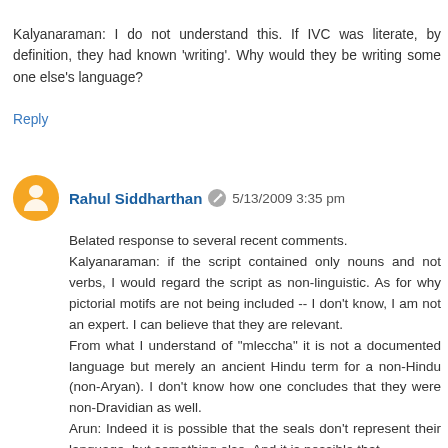Kalyanaraman: I do not understand this. If IVC was literate, by definition, they had known 'writing'. Why would they be writing some one else's language?
Reply
Rahul Siddharthan  5/13/2009 3:35 pm
Belated response to several recent comments.
Kalyanaraman: if the script contained only nouns and not verbs, I would regard the script as non-linguistic. As for why pictorial motifs are not being included -- I don't know, I am not an expert. I can believe that they are relevant.
From what I understand of "mleccha" it is not a documented language but merely an ancient Hindu term for a non-Hindu (non-Aryan). I don't know how one concludes that they were non-Dravidian as well.
Arun: Indeed it is possible that the seals don't represent their language, but something else. And it is possible that